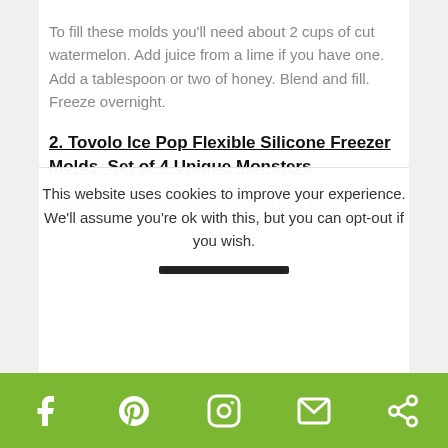To fill these molds you’ll need about 2 cups of cut watermelon. Add juice from a lime if you have one. Add a tablespoon or two of honey. Blend and fill. Freeze overnight.
2. Tovolo Ice Pop Flexible Silicone Freezer Molds, Set of 4 Unique Monsters
These molds are scary cute! Our Hulk Smash
This website uses cookies to improve your experience. We’ll assume you’re ok with this, but you can opt-out if you wish.